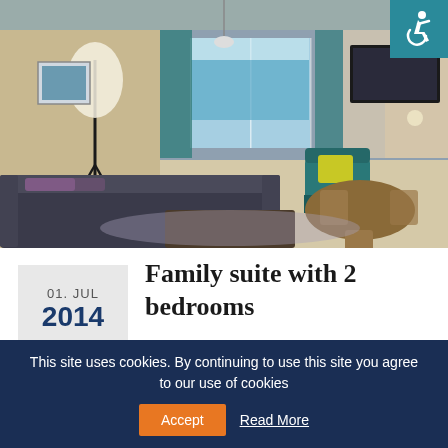[Figure (photo): Interior of a modern hotel family suite with dark sofa, teal accent chair with yellow pillow, dining table, flat-screen TV, and large windows with ocean view and teal curtains]
01. JUL 2014
Family suite with 2 bedrooms
Our family suites are spacious and comfortable,
This site uses cookies. By continuing to use this site you agree to our use of cookies  Accept  Read More